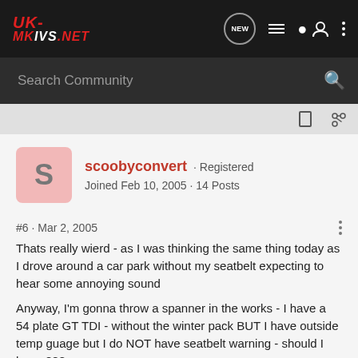UK-MKVS.NET
Search Community
scoobyconvert · Registered
Joined Feb 10, 2005 · 14 Posts
#6 · Mar 2, 2005
Thats really wierd - as I was thinking the same thing today as I drove around a car park without my seatbelt expecting to hear some annoying sound
Anyway, I'm gonna throw a spanner in the works - I have a 54 plate GT TDI - without the winter pack BUT I have outside temp guage but I do NOT have seatbelt warning - should I have ???